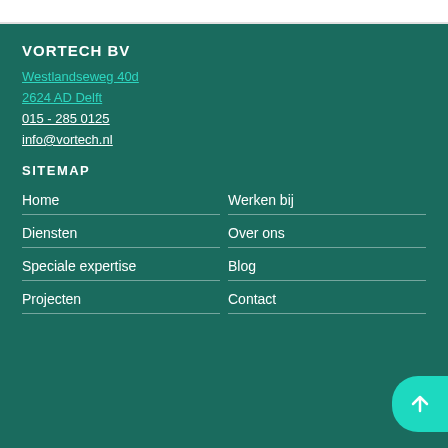VORTECH BV
Westlandseweg 40d
2624 AD Delft
015 - 285 0125
info@vortech.nl
SITEMAP
Home
Werken bij
Diensten
Over ons
Speciale expertise
Blog
Projecten
Contact